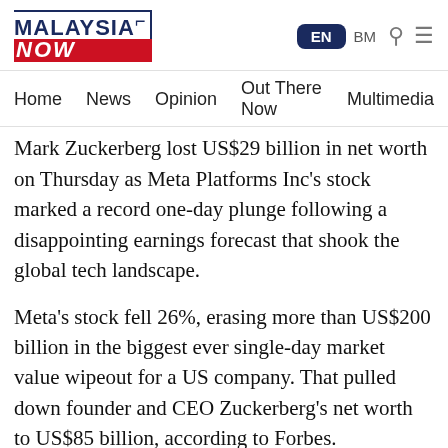MALAYSIA NOW | EN BM
Home | News | Opinion | Out There Now | Multimedia
Mark Zuckerberg lost US$29 billion in net worth on Thursday as Meta Platforms Inc's stock marked a record one-day plunge following a disappointing earnings forecast that shook the global tech landscape.
Meta's stock fell 26%, erasing more than US$200 billion in the biggest ever single-day market value wipeout for a US company. That pulled down founder and CEO Zuckerberg's net worth to US$85 billion, according to Forbes.
Zuckerberg owns about 12.8% of the tech behemoth formerly known as Facebook.